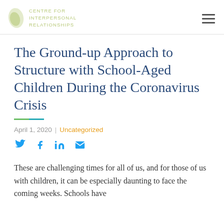CENTRE FOR INTERPERSONAL RELATIONSHIPS
The Ground-up Approach to Structure with School-Aged Children During the Coronavirus Crisis
April 1, 2020 | Uncategorized
[Figure (infographic): Social share icons: Twitter, Facebook, LinkedIn, Email]
These are challenging times for all of us, and for those of us with children, it can be especially daunting to face the coming weeks. Schools have